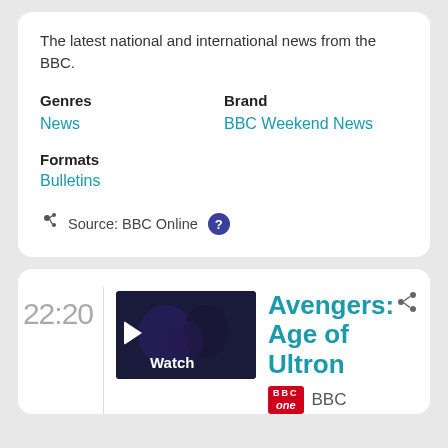The latest national and international news from the BBC.
Genres
Brand
News
BBC Weekend News
Formats
Bulletins
Source: BBC Online ?
22:20
[Figure (screenshot): Dark thumbnail image with play button and 'Watch' text overlay]
Avengers: Age of Ultron
BBC